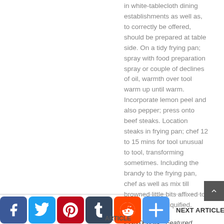in white-tablecloth dining establishments as well as, to correctly be offered, should be prepared at table side. On a tidy frying pan; spray with food preparation spray or couple of declines of oil, warmth over tool warm up until warm. Incorporate lemon peel and also pepper; press onto beef steaks. Location steaks in frying pan; chef 12 to 15 mins for tool unusual to tool, transforming sometimes. Including the brandy to the frying pan, chef as well as mix till browned little bits affixed to frying pan are liquified.
POSTED IN : Featured
[Figure (other): Social media sharing icons bar: Facebook (blue), Twitter (light blue), Pinterest (red), Tumblr (dark blue-grey), Reddit (orange), Plus/Share (blue). Followed by NEXT ARTICLE> text link.]